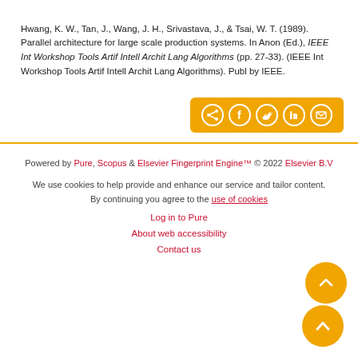Hwang, K. W., Tan, J., Wang, J. H., Srivastava, J., & Tsai, W. T. (1989). Parallel architecture for large scale production systems. In Anon (Ed.), IEEE Int Workshop Tools Artif Intell Archit Lang Algorithms (pp. 27-33). (IEEE Int Workshop Tools Artif Intell Archit Lang Algorithms). Publ by IEEE.
[Figure (other): Social share button bar with gold background containing share, Facebook, Twitter, LinkedIn, and email icons]
Powered by Pure, Scopus & Elsevier Fingerprint Engine™ © 2022 Elsevier B.V
We use cookies to help provide and enhance our service and tailor content. By continuing you agree to the use of cookies
Log in to Pure
About web accessibility
Contact us